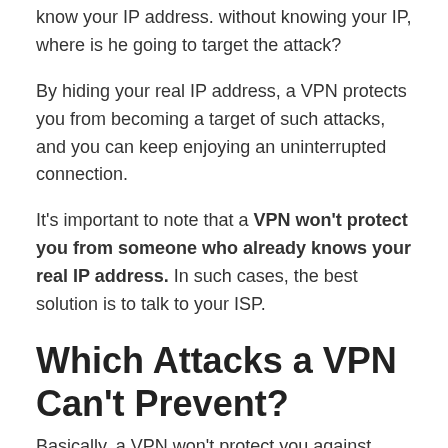know your IP address. without knowing your IP, where is he going to target the attack?
By hiding your real IP address, a VPN protects you from becoming a target of such attacks, and you can keep enjoying an uninterrupted connection.
It's important to note that a VPN won't protect you from someone who already knows your real IP address. In such cases, the best solution is to talk to your ISP.
Which Attacks a VPN Can't Prevent?
Basically, a VPN won't protect you against attacks that don't require access to your IP address. Such as malware attacks and phishing attacks.